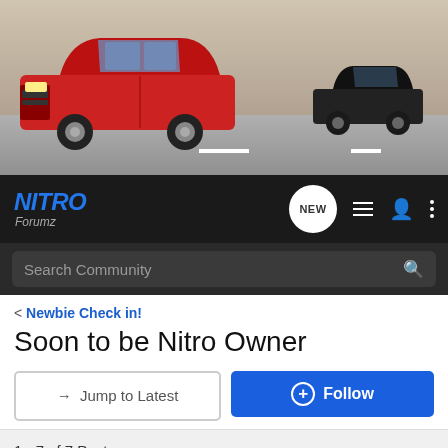[Figure (photo): Banner photo of a red Dodge Nitro SUV in the foreground and a black SUV in background on a road with rocky terrain]
NITRO Forumz — navigation bar with NEW chat bubble icon, list icon, user icon, and menu icon
Search Community
< Newbie Check in!
Soon to be Nitro Owner
→ Jump to Latest
+ Follow
1 - 7 of 7 Posts
Guest ·